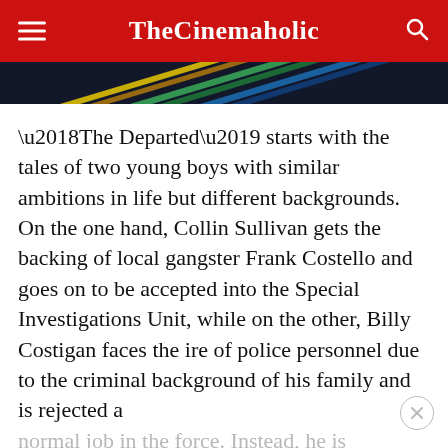TheCinemaholic
[Figure (illustration): Colorful banner/advertisement image with diagonal streaks of yellow, green, and blue on dark background]
‘The Departed’ starts with the tales of two young boys with similar ambitions in life but different backgrounds. On the one hand, Collin Sullivan gets the backing of local gangster Frank Costello and goes on to be accepted into the Special Investigations Unit, while on the other, Billy Costigan faces the ire of police personnel due to the criminal background of his family and is rejected a normal job in the force. Instead, he is employed as an undercover agent and sent to prison on fraudulent charges to fortify his